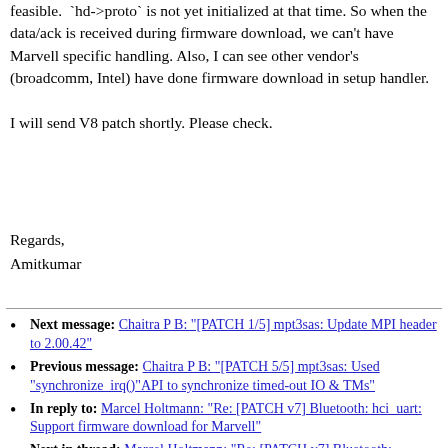feasible. `hd->proto` is not yet initialized at that time. So when the data/ack is received during firmware download, we can't have Marvell specific handling. Also, I can see other vendor's (broadcomm, Intel) have done firmware download in setup handler.
I will send V8 patch shortly. Please check.
Regards,
Amitkumar
Next message: Chaitra P B: "[PATCH 1/5] mpt3sas: Update MPI header to 2.00.42"
Previous message: Chaitra P B: "[PATCH 5/5] mpt3sas: Used "synchronize_irq()"API to synchronize timed-out IO & TMs"
In reply to: Marcel Holtmann: "Re: [PATCH v7] Bluetooth: hci_uart: Support firmware download for Marvell"
Next in thread: Marcel Holtmann: "Re: [PATCH v7] Bluetooth: hci_uart: Support firmware download for Marvell"
Messages sorted by: [ date ] [ thread ] [ subject ] [ author ]